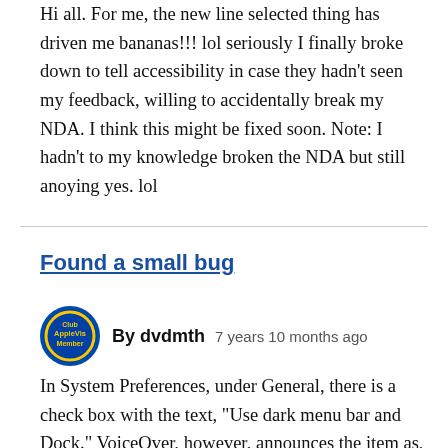Hi all. For me, the new line selected thing has driven me bananas!!! lol seriously I finally broke down to tell accessibility in case they hadn't seen my feedback, willing to accidentally break my NDA. I think this might be fixed soon. Note: I hadn't to my knowledge broken the NDA but still anoying yes. lol
Found a small bug
By dvdmth   7 years 10 months ago
In System Preferences, under General, there is a check box with the text, "Use dark menu bar and Dock." VoiceOver, however, announces the item as, "Theme checkbox." This checkbox is